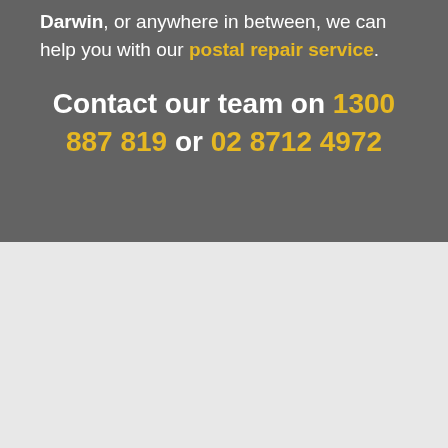Darwin, or anywhere in between, we can help you with our postal repair service.
Contact our team on 1300 887 819 or 02 8712 4972